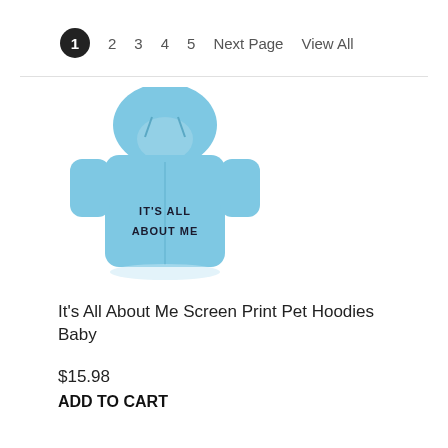1  2  3  4  5  Next Page  View All
[Figure (photo): Baby blue pet hoodie with 'It's All About Me' screen print text on the back]
It's All About Me Screen Print Pet Hoodies Baby
$15.98
ADD TO CART